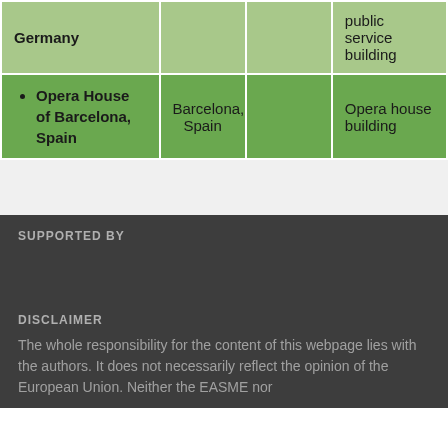|  |  |  |  |
| --- | --- | --- | --- |
| Germany |  |  | public service building |
| • Opera House of Barcelona, Spain | Barcelona, Spain |  | Opera house building |
SUPPORTED BY
DISCLAIMER
The whole responsibility for the content of this webpage lies with the authors. It does not necessarily reflect the opinion of the European Union. Neither the EASME nor